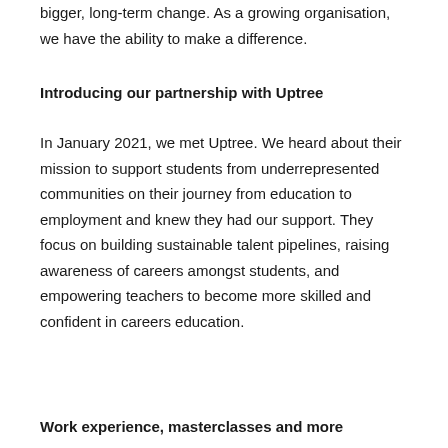bigger, long-term change. As a growing organisation, we have the ability to make a difference.
Introducing our partnership with Uptree
In January 2021, we met Uptree. We heard about their mission to support students from underrepresented communities on their journey from education to employment and knew they had our support. They focus on building sustainable talent pipelines, raising awareness of careers amongst students, and empowering teachers to become more skilled and confident in careers education.
Work experience, masterclasses and more